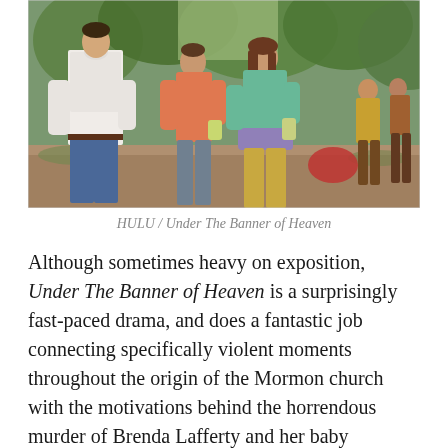[Figure (photo): Outdoor scene with three people walking through a wooded area. A man in a white shirt and blue jeans is on the left, a woman in an orange/salmon top is in the middle background, and a woman in a teal/mint top with a purple jacket tied around her waist is in the foreground right. Additional people visible in the background. Appears to be a still from the TV show Under The Banner of Heaven on Hulu.]
HULU / Under The Banner of Heaven
Although sometimes heavy on exposition, Under The Banner of Heaven is a surprisingly fast-paced drama, and does a fantastic job connecting specifically violent moments throughout the origin of the Mormon church with the motivations behind the horrendous murder of Brenda Lafferty and her baby daughter.